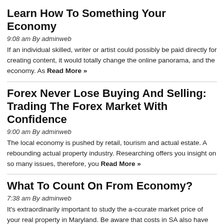Learn How To Something Your Economy
9:08 am By adminweb
If an individual skilled, writer or artist could possibly be paid directly for creating content, it would totally change the online panorama, and the economy. As Read More »
Forex Never Lose Buying And Selling: Trading The Forex Market With Confidence
9:00 am By adminweb
The local economy is pushed by retail, tourism and actual estate. A rebounding actual property industry. Researching offers you insight on so many issues, therefore, you Read More »
What To Count On From Economy?
7:38 am By adminweb
It's extraordinarily important to study the a-ccurate market price of your real property in Maryland. Be aware that costs in SA also have the best normal Read More »
3 Ridiculous Rules About Economy